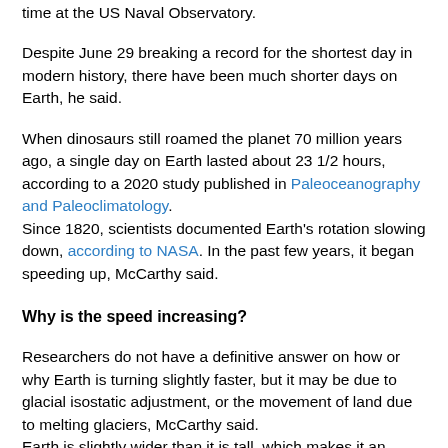time at the US Naval Observatory.
Despite June 29 breaking a record for the shortest day in modern history, there have been much shorter days on Earth, he said.
When dinosaurs still roamed the planet 70 million years ago, a single day on Earth lasted about 23 1/2 hours, according to a 2020 study published in Paleoceanography and Paleoclimatology. Since 1820, scientists documented Earth's rotation slowing down, according to NASA. In the past few years, it began speeding up, McCarthy said.
Why is the speed increasing?
Researchers do not have a definitive answer on how or why Earth is turning slightly faster, but it may be due to glacial isostatic adjustment, or the movement of land due to melting glaciers, McCarthy said. Earth is slightly wider than it is tall, which makes it an oblate spheroid, he said.